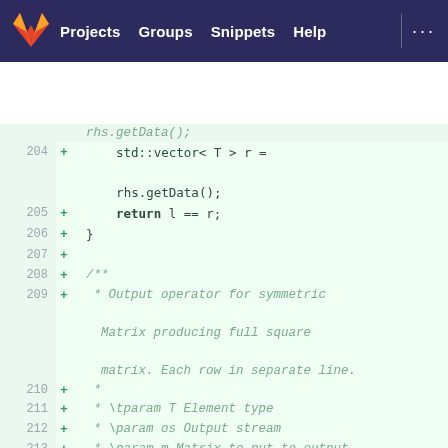GitLab navigation: Projects | Groups | Snippets | Help
[Figure (screenshot): GitLab code diff viewer showing lines 204-218 of a C++ file with added lines (green diff). Code includes std::vector, return statement, closing brace, Doxygen comment block describing an output operator for symmetric Matrix, and template/inline function declarations.]